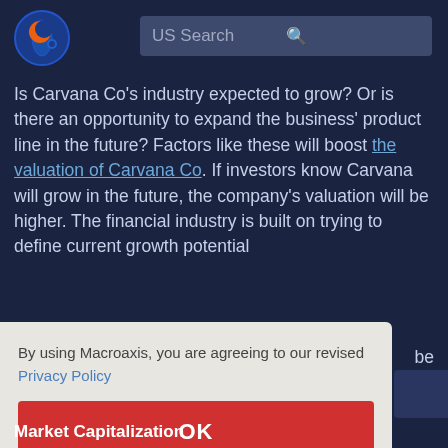[Figure (logo): Macroaxis circular logo with orange and blue planet/globe design]
US Search
Is Carvana Co's industry expected to grow? Or is there an opportunity to expand the business' product line in the future? Factors like these will boost the valuation of Carvana Co. If investors know Carvana will grow in the future, the company's valuation will be higher. The financial industry is built on trying to define current growth potential
By using Macroaxis, you are agreeing to our revised Privacy Policy
OK
Market Capitalization